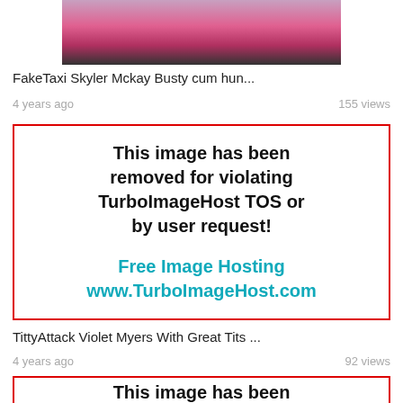[Figure (photo): Partial photo of a person in a pink outfit inside a car, cropped at top]
FakeTaxi Skyler Mckay Busty cum hun...
4 years ago    155 views
[Figure (infographic): Red-bordered box: 'This image has been removed for violating TurboImageHost TOS or by user request! Free Image Hosting www.TurboImageHost.com']
TittyAttack Violet Myers With Great Tits ...
4 years ago    92 views
[Figure (infographic): Red-bordered box partially visible at bottom: 'This image has been']